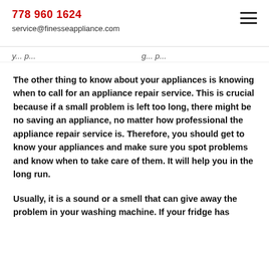778 960 1624
service@finesseappliance.com
y... p...                                                   g... p...
The other thing to know about your appliances is knowing when to call for an appliance repair service. This is crucial because if a small problem is left too long, there might be no saving an appliance, no matter how professional the appliance repair service is. Therefore, you should get to know your appliances and make sure you spot problems and know when to take care of them. It will help you in the long run.
Usually, it is a sound or a smell that can give away the problem in your washing machine. If your fridge has